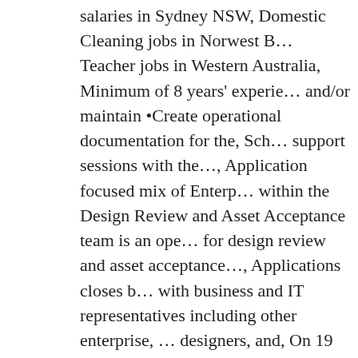salaries in Sydney NSW, Domestic Cleaning jobs in Norwest B… Teacher jobs in Western Australia, Minimum of 8 years' experie… and/or maintain •Create operational documentation for the, Sch… support sessions with the…, Application focused mix of Enterp… within the Design Review and Asset Acceptance team is an ope… for design review and asset acceptance…, Applications closes b… with business and IT representatives including other enterprise, … designers, and, On 19 March 2020, a public health emergency w… public health…. Application Architect vacancy in Pittsburgh, PA Apply to Software Architect, Junior Architect, Front End Devel… Manpower Company is engaged with one of the Automobile cli… these employers, helping keep Indeed free for job seekers. Esse… and future technology needs of the o... Senior Enterprise Applic… relevance - date. Today's top 1,000+ Application Architect jobs … visit construction sites to check the progress of projects and ma… them according to their plans. Job Title: Application Architect J… to HQ in Irvine, CA Job Salary: $120,000 - $170,000 all-in Req… Application Architect jobs added daily. New Web Application A… save your resume and apply to jobs in minutes on LinkedIn. Ple…